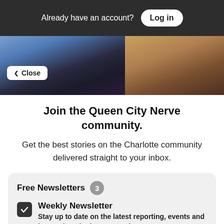Already have an account? Log in
[Figure (photo): Two images side by side: left shows an outdoor venue with purple lights and trees at dusk; right shows two people in dark clothing.]
Close
Join the Queen City Nerve community.
Get the best stories on the Charlotte community delivered straight to your inbox.
Free Newsletters 3
Weekly Newsletter — Stay up to date on the latest reporting, events and happenings in the Queen City
City Council Quickies